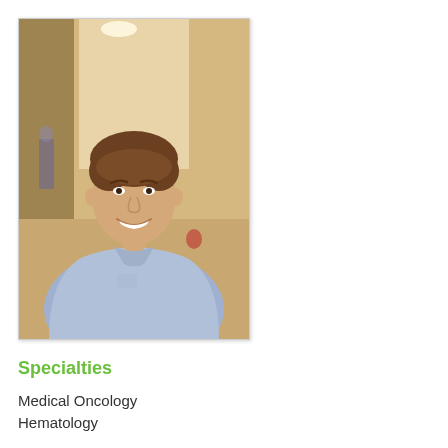[Figure (photo): Portrait photo of a smiling young male doctor/physician wearing a light blue button-down shirt, standing in what appears to be a medical office or clinic hallway.]
Specialties
Medical Oncology
Hematology